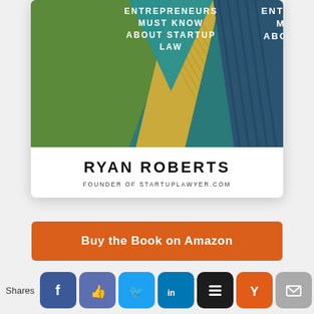[Figure (illustration): Book cover for a startup law book by Ryan Roberts, founder of startuplawyer.com. Shows geometric shapes in green, teal, gold, and dark blue on a colorful abstract background. Text at top reads 'ENTREPRENEURS MUST KNOW ABOUT STARTUP LAW'. Author name 'RYAN ROBERTS' and 'FOUNDER OF STARTUPLAWYER.COM' shown at bottom of cover card.]
RYAN ROBERTS
FOUNDER OF STARTUPLAWYER.COM
Buy the Book on Amazon
Shares